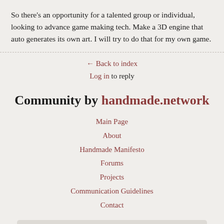So there's an opportunity for a talented group or individual, looking to advance game making tech. Make a 3D engine that auto generates its own art. I will try to do that for my own game.
← Back to index
Log in to reply
Community by handmade.network
Main Page
About
Handmade Manifesto
Forums
Projects
Communication Guidelines
Contact
Search with DuckDuckGo